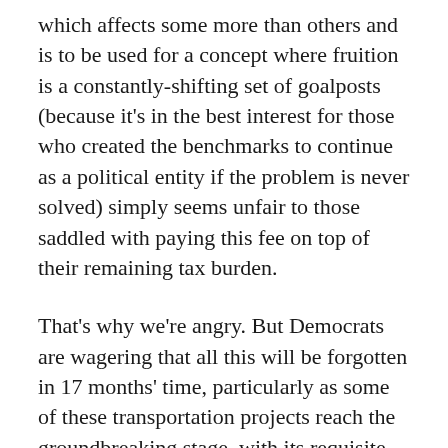which affects some more than others and is to be used for a concept where fruition is a constantly-shifting set of goalposts (because it's in the best interest for those who created the benchmarks to continue as a political entity if the problem is never solved) simply seems unfair to those saddled with paying this fee on top of their remaining tax burden.
That's why we're angry. But Democrats are wagering that all this will be forgotten in 17 months' time, particularly as some of these transportation projects reach the groundbreaking stage, with its requisite photo-op.